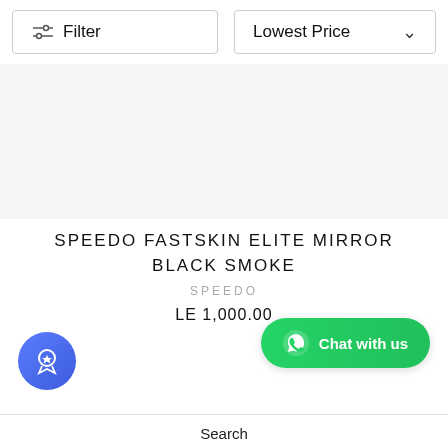[Figure (screenshot): Filter button with sliders icon and Lowest Price sort dropdown with chevron]
[Figure (photo): Product image placeholder area (light gray background)]
SPEEDO FASTSKIN ELITE MIRROR BLACK SMOKE
SPEEDO
LE 1,000.00
[Figure (other): WhatsApp Chat with us green button]
[Figure (other): Blue circular rewards/badge button]
Search